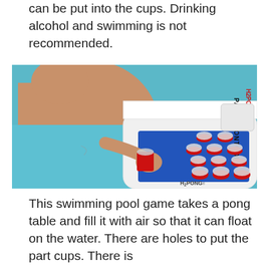can be put into the cups. Drinking alcohol and swimming is not recommended.
[Figure (photo): Man standing in a swimming pool holding a red cup, about to throw a ball onto a floating inflatable beer pong table (H2PONG Party Pontoon) with red cups arranged on a blue playing surface.]
This swimming pool game takes a pong table and fill it with air so that it can float on the water. There are holes to put the part cups. There is